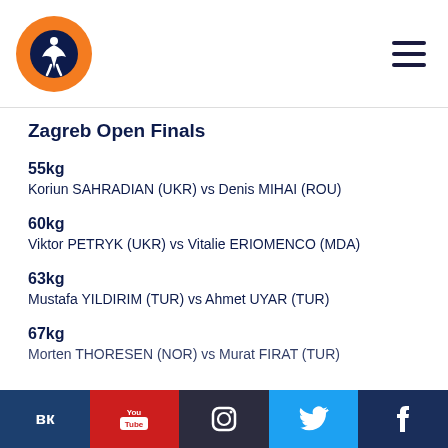[Figure (logo): Wrestling federation logo — orange circle with white figure on dark blue background]
Zagreb Open Finals
55kg
Koriun SAHRADIAN (UKR) vs Denis MIHAI (ROU)
60kg
Viktor PETRYK (UKR) vs Vitalie ERIOMENCO (MDA)
63kg
Mustafa YILDIRIM (TUR) vs Ahmet UYAR (TUR)
67kg
Morten THORESEN (NOR) vs Murat FIRAT (TUR)
VK | YouTube | Instagram | Twitter | Facebook